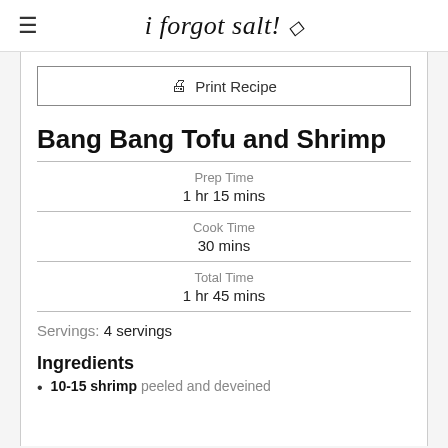i forgot salt!
Print Recipe
Bang Bang Tofu and Shrimp
Prep Time
1 hr 15 mins
Cook Time
30 mins
Total Time
1 hr 45 mins
Servings: 4 servings
Ingredients
10-15 shrimp peeled and deveined